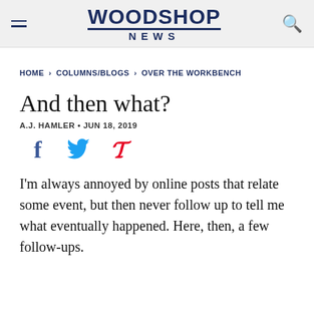WOODSHOP NEWS
HOME > COLUMNS/BLOGS > OVER THE WORKBENCH
And then what?
A.J. HAMLER • JUN 18, 2019
[Figure (infographic): Social sharing icons: Facebook (f), Twitter (bird), Pinterest (p)]
I'm always annoyed by online posts that relate some event, but then never follow up to tell me what eventually happened. Here, then, a few follow-ups.